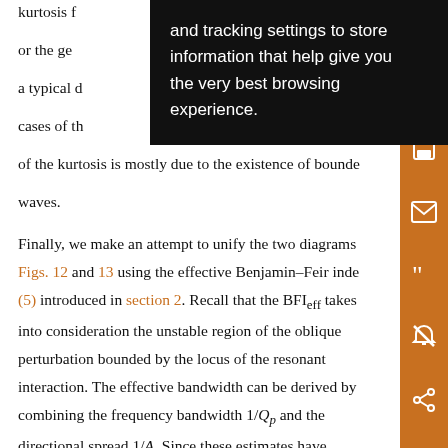kurtosis for the general and tracking settings to store shape or the general information that help give you [0]. For a typical distribution (i.e. cases of the existence of bounded waves. of the kurtosis is mostly due to the existence of bounded waves.
Finally, we make an attempt to unify the two diagrams Figs. 12 and 13 using the effective Benjamin–Feir index (5) introduced in section 2. Recall that the BFIeff takes into consideration the unstable region of the oblique perturbation bounded by the locus of the resonant interaction. The effective bandwidth can be derived by combining the frequency bandwidth 1/Qp and the directional spread 1/A. Since these estimates have empirical uncertainties and biases, these values were calibrated by mapping 1/Q...